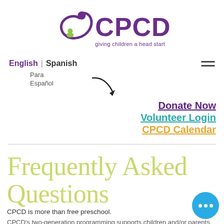[Figure (logo): CPCD logo with purple swirl figure and green child silhouette, with text 'CPCD giving children a head start']
English | Spanish
Para Español (with arrow pointing to Spanish)
Donate Now
Volunteer Login
CPCD Calendar
Frequently Asked Questions
CPCD is more than free preschool. CPCD's two-generation programming supports children and/or parents